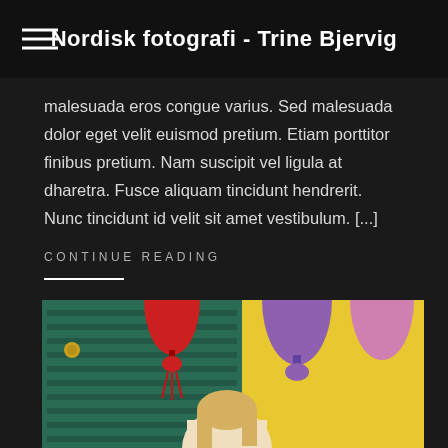Nordisk fotografi - Trine Bjervig
malesuada eros congue varius. Sed malesuada dolor eget velit euismod pretium. Etiam porttitor finibus pretium. Nam suscipit vel ligula at dharetra. Fusce aliquam tincidunt hendrerit. Nunc tincidunt id velit sit amet vestibulum. [...]
CONTINUE READING
[Figure (photo): Photo of a person with colorful lanterns (pink, red, purple) hanging in front of a yellow and teal/green background with decorative shutters]